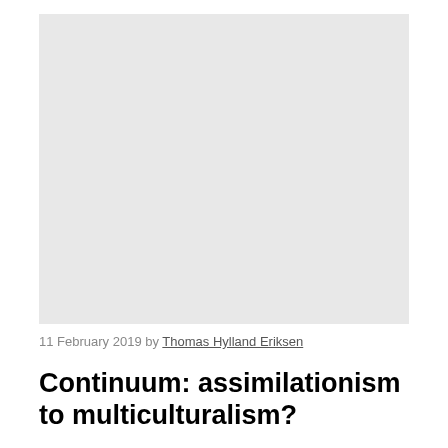[Figure (photo): Large light gray placeholder image at the top of the page]
11 February 2019 by Thomas Hylland Eriksen
Continuum: assimilationism to multiculturalism?